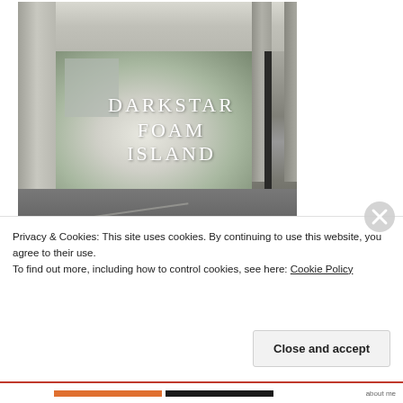[Figure (photo): Photograph of a concrete car park or covered outdoor space with pillars, a ceiling, and a view of blossoming trees and a building in the background. Text overlay reads 'DARKSTAR FOAM ISLAND' in white serif letters.]
Privacy & Cookies: This site uses cookies. By continuing to use this website, you agree to their use.
To find out more, including how to control cookies, see here: Cookie Policy
Close and accept